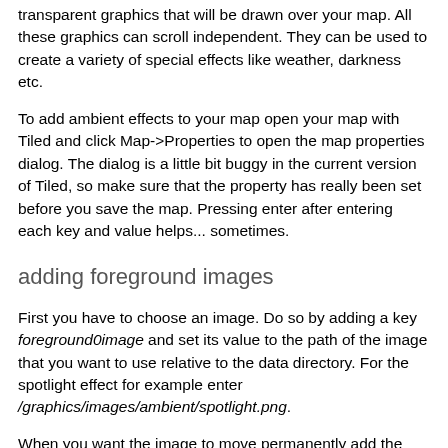transparent graphics that will be drawn over your map. All these graphics can scroll independent. They can be used to create a variety of special effects like weather, darkness etc.
To add ambient effects to your map open your map with Tiled and click Map->Properties to open the map properties dialog. The dialog is a little bit buggy in the current version of Tiled, so make sure that the property has really been set before you save the map. Pressing enter after entering each key and value helps... sometimes.
adding foreground images
First you have to choose an image. Do so by adding a key foreground0image and set its value to the path of the image that you want to use relative to the data directory. For the spotlight effect for example enter /graphics/images/ambient/spotlight.png.
When you want the image to move permanently add the new keys foreground0scrollX and foreground0scrollY followed by a